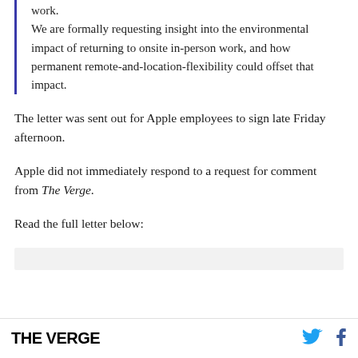work.
We are formally requesting insight into the environmental impact of returning to onsite in-person work, and how permanent remote-and-location-flexibility could offset that impact.
The letter was sent out for Apple employees to sign late Friday afternoon.
Apple did not immediately respond to a request for comment from The Verge.
Read the full letter below:
THE VERGE